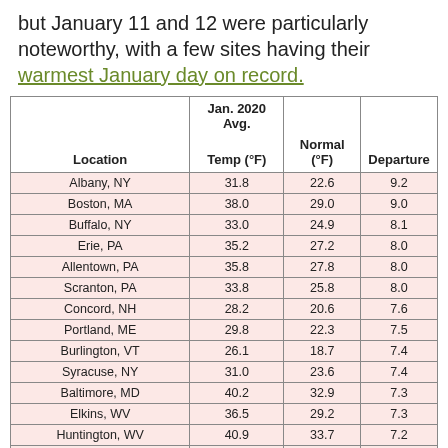but January 11 and 12 were particularly noteworthy, with a few sites having their warmest January day on record.
| Location | Jan. 2020 Avg. Temp (°F) | Normal (°F) | Departure |
| --- | --- | --- | --- |
| Albany, NY | 31.8 | 22.6 | 9.2 |
| Boston, MA | 38.0 | 29.0 | 9.0 |
| Buffalo, NY | 33.0 | 24.9 | 8.1 |
| Erie, PA | 35.2 | 27.2 | 8.0 |
| Allentown, PA | 35.8 | 27.8 | 8.0 |
| Scranton, PA | 33.8 | 25.8 | 8.0 |
| Concord, NH | 28.2 | 20.6 | 7.6 |
| Portland, ME | 29.8 | 22.3 | 7.5 |
| Burlington, VT | 26.1 | 18.7 | 7.4 |
| Syracuse, NY | 31.0 | 23.6 | 7.4 |
| Baltimore, MD | 40.2 | 32.9 | 7.3 |
| Elkins, WV | 36.5 | 29.2 | 7.3 |
| Huntington, WV | 40.9 | 33.7 | 7.2 |
| Newark, NJ | 38.7 | 31.6 | 7.1 |
| Harrisburg, PA | 36.9 | 29.9 | 7.0 |
| Hartford, CT | 33.0 | 26.1 | 6.9 |
| Pittsburgh, PA | 35.2 | 28.4 | 6.8 |